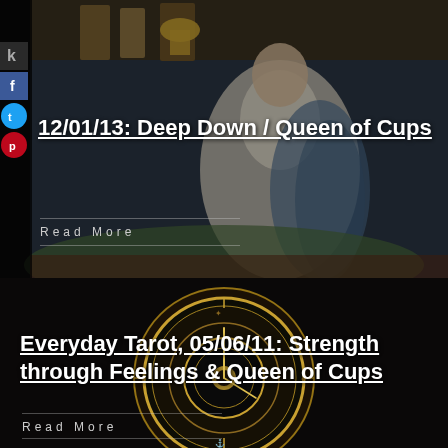[Figure (photo): Tarot card image showing Queen of Cups figure seated, wearing white robes with blue decorative elements, holding a chalice/cup, with castle turrets visible at top. Dark overlay with social media sidebar on left.]
12/01/13: Deep Down / Queen of Cups
Read More
[Figure (photo): Dark close-up photograph of an ornate golden compass or astrolabe instrument, showing intricate mechanical details and markings against a dark background.]
Everyday Tarot, 05/06/11: Strength through Feelings & Queen of Cups
Read More